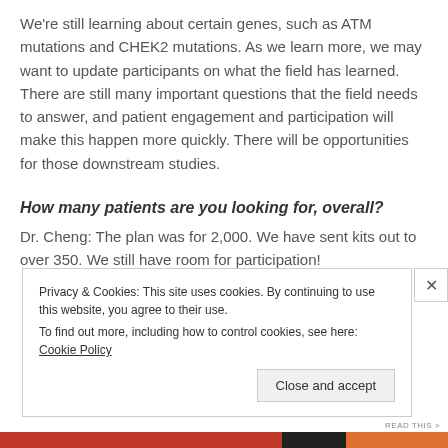We're still learning about certain genes, such as ATM mutations and CHEK2 mutations. As we learn more, we may want to update participants on what the field has learned. There are still many important questions that the field needs to answer, and patient engagement and participation will make this happen more quickly. There will be opportunities for those downstream studies.
How many patients are you looking for, overall?
Dr. Cheng: The plan was for 2,000. We have sent kits out to over 350. We still have room for participation!
Privacy & Cookies: This site uses cookies. By continuing to use this website, you agree to their use.
To find out more, including how to control cookies, see here: Cookie Policy